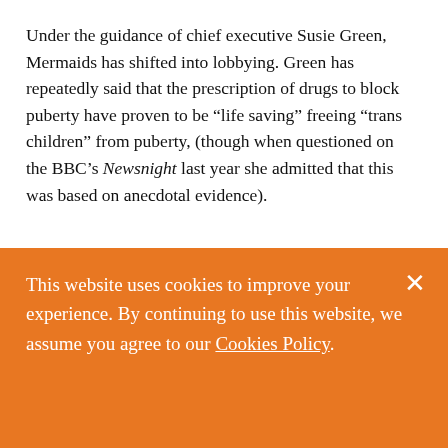Under the guidance of chief executive Susie Green, Mermaids has shifted into lobbying. Green has repeatedly said that the prescription of drugs to block puberty have proven to be “life saving” freeing “trans children” from puberty, (though when questioned on the BBC’s Newsnight last year she admitted that this was based on anecdotal evidence).
This website uses cookies to improve your experience. By continuing to use this website, we assume you agree to our Cookies Policy.